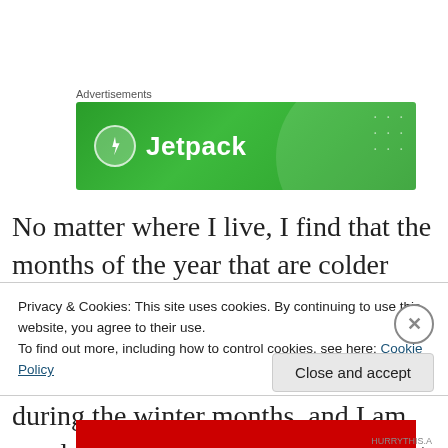Advertisements
[Figure (logo): Jetpack advertisement banner — green background with Jetpack logo (lightning bolt icon in circle) and brand name in white text]
No matter where I live, I find that the months of the year that are colder weigh heaviest on my moods. Admittedly, I have seen myself go from varying degrees of depression during the winter months, and I am nearly certain (and so is science) that the cold weather takes a toll on each of us
Privacy & Cookies: This site uses cookies. By continuing to use this website, you agree to their use.
To find out more, including how to control cookies, see here: Cookie Policy